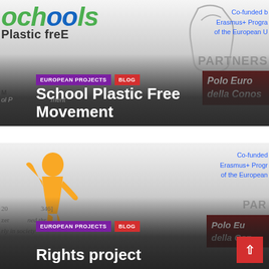[Figure (screenshot): Card 1: School Plastic Free Movement project card with logo showing 'ochools Plastic freE', tags EUROPEAN PROJECTS and BLOG, title 'School Plastic Free Movement', and partner logos including Polo Euro della Conos and Co-funded Erasmus+ Programme of the European Union badge]
[Figure (screenshot): Card 2: Rights project card with a golden figure/statue icon, tags EUROPEAN PROJECTS and BLOG, title 'Rights project', and partner logos including Polo Eu della Con and Co-funded Erasmus+ Programme of the European Union badge. Background shows partial text with '20', '346]', 'zer', 'rly in society'.]